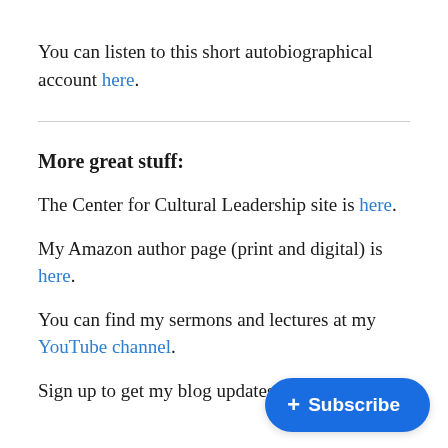You can listen to this short autobiographical account here.
More great stuff:
The Center for Cultural Leadership site is here.
My Amazon author page (print and digital) is here.
You can find my sermons and lectures at my YouTube channel.
Sign up to get my blog updates he…